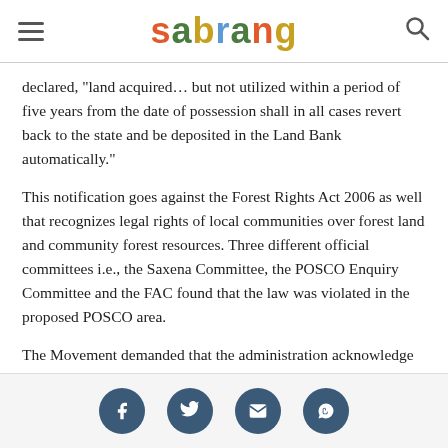sabrang
declared, “land acquired… but not utilized within a period of five years from the date of possession shall in all cases revert back to the state and be deposited in the Land Bank automatically.”
This notification goes against the Forest Rights Act 2006 as well that recognizes legal rights of local communities over forest land and community forest resources. Three different official committees i.e., the Saxena Committee, the POSCO Enquiry Committee and the FAC found that the law was violated in the proposed POSCO area.
The Movement demanded that the administration acknowledge that there is no provision which provides for land acquisition for any land bank. As such, the land must return to the original inhabitants.
Social share icons: Facebook, Twitter, Email, WhatsApp